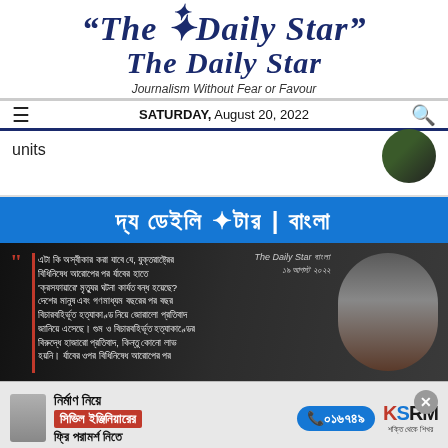The Daily Star — Journalism Without Fear or Favour
SATURDAY, August 20, 2022
units
[Figure (photo): Circular cropped profile photo (partially visible) in top right corner]
[Figure (logo): The Daily Star Bangla banner in blue with Bengali script text: দ্য ডেইলি স্টার | বাংলা]
[Figure (photo): Dark news card with Bengali quote text on left and man's portrait photo on right, with The Daily Star Bangla watermark and date ১৯ আগস্ট ২০২২]
[Figure (advertisement): KSRM advertisement: নির্মাণ নিয়ে সিভিল ইঞ্জিনিয়ারের ফ্রি পরামর্শ নিতে, phone ০১৬৭৪৯, KSRM logo, with close button]